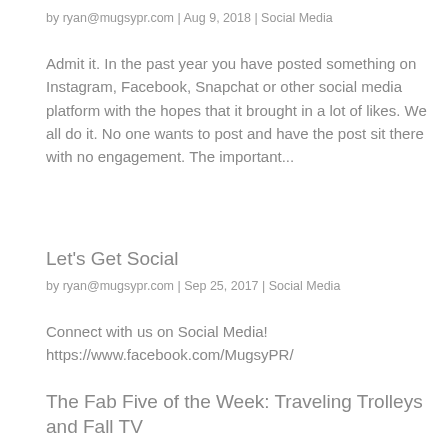by ryan@mugsypr.com | Aug 9, 2018 | Social Media
Admit it. In the past year you have posted something on Instagram, Facebook, Snapchat or other social media platform with the hopes that it brought in a lot of likes. We all do it. No one wants to post and have the post sit there with no engagement. The important...
Let's Get Social
by ryan@mugsypr.com | Sep 25, 2017 | Social Media
Connect with us on Social Media! https://www.facebook.com/MugsyPR/
The Fab Five of the Week: Traveling Trolleys and Fall TV